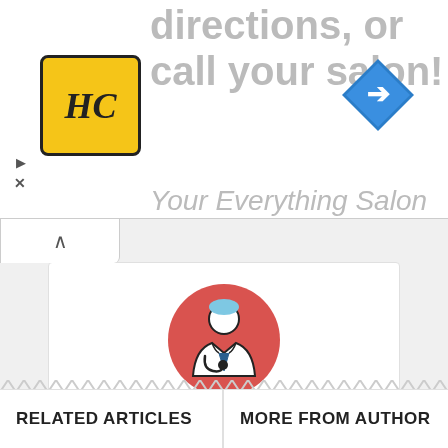[Figure (screenshot): Advertisement banner showing 'view store hours, get directions, or call your salon!' with HC logo and navigation arrow icon, partially visible]
[Figure (illustration): Doctor/administrator avatar icon: white coat doctor with stethoscope on a coral/salmon red circular background]
Administrator
Medicos Republic is a blog dedicated to helping medical students, doctors and healthcare professionals from all over the world. This blog is only for educational purposes.
RELATED ARTICLES
MORE FROM AUTHOR